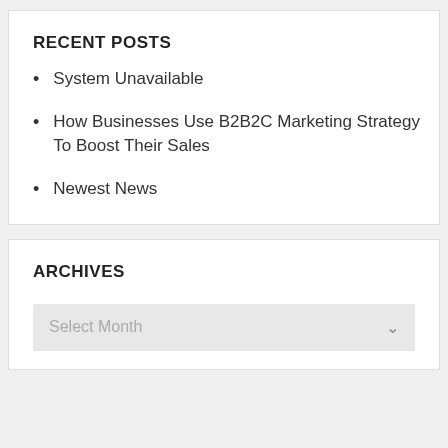RECENT POSTS
System Unavailable
How Businesses Use B2B2C Marketing Strategy To Boost Their Sales
Newest News
ARCHIVES
Select Month